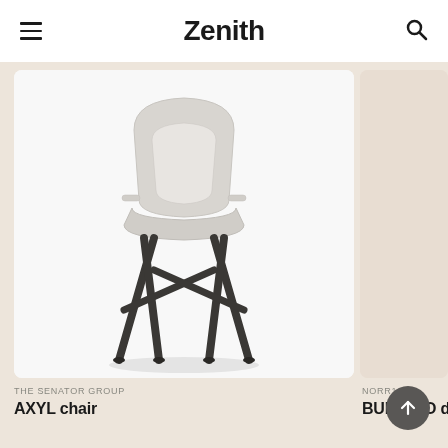Zenith
[Figure (photo): A modern light grey plastic chair with dark metal crossed legs, shown from a three-quarter angle on a white background. Product: AXYL chair by The Senator Group.]
[Figure (photo): Partially visible second product card on the right edge, beige/warm background, appears to be BUFFALO dining chair by NORR11.]
THE SENATOR GROUP
AXYL chair
NORR11
BUFFALO dini